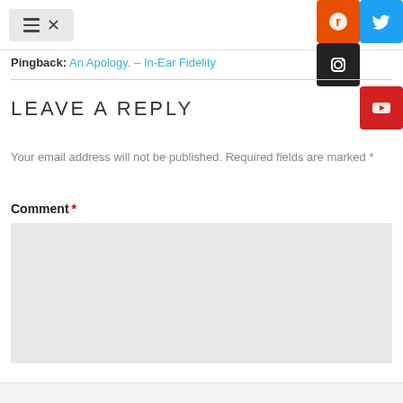Navigation menu icon and social media buttons (Reddit, Twitter, Instagram, YouTube)
Pingback: An Apology. – In-Ear Fidelity
LEAVE A REPLY
Your email address will not be published. Required fields are marked *
Comment *